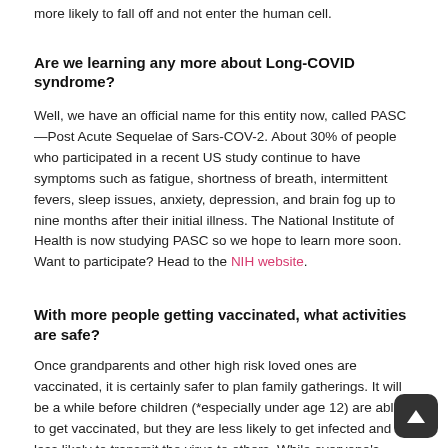more likely to fall off and not enter the human cell.
Are we learning any more about Long-COVID syndrome?
Well, we have an official name for this entity now, called PASC—Post Acute Sequelae of Sars-COV-2. About 30% of people who participated in a recent US study continue to have symptoms such as fatigue, shortness of breath, intermittent fevers, sleep issues, anxiety, depression, and brain fog up to nine months after their initial illness. The National Institute of Health is now studying PASC so we hope to learn more soon. Want to participate? Head to the NIH website.
With more people getting vaccinated, what activities are safe?
Once grandparents and other high risk loved ones are vaccinated, it is certainly safer to plan family gatherings. It will be a while before children (*especially under age 12) are able to get vaccinated, but they are less likely to get infected and less likely to transmit the virus to others. While everyone's individual